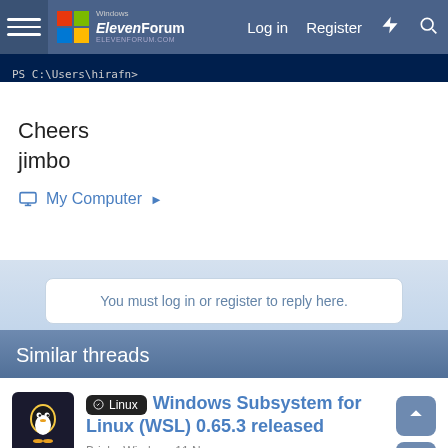ElevenForum — Log in  Register
[Figure (screenshot): PowerShell terminal snippet showing PS C:\Users\hirafn> prompt]
Cheers
jimbo
My Computer ▶
You must log in or register to reply here.
Similar threads
🐧 Linux  Windows Subsystem for Linux (WSL) 0.65.3 released
Brink · Windows 11 News
Replies: 0 · Aug 4, 2022